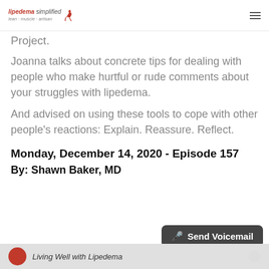lipedema simplified
Project.
Joanna talks about concrete tips for dealing with people who make hurtful or rude comments about your struggles with lipedema.
And advised on using these tools to cope with other people's reactions: Explain. Reassure. Reflect.
Monday, December 14, 2020 - Episode 157
By: Shawn Baker, MD
[Figure (screenshot): Send Voicemail button overlay and podcast preview bar at bottom showing Living Well with Lipedema]